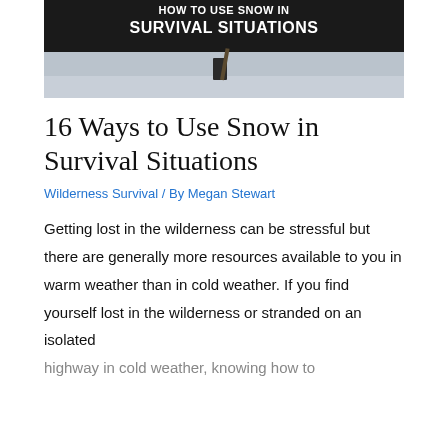[Figure (photo): Hero banner image with dark background showing snow on the ground and a dark object. White bold uppercase text reads 'HOW TO USE SNOW IN SURVIVAL SITUATIONS'.]
16 Ways to Use Snow in Survival Situations
Wilderness Survival / By Megan Stewart
Getting lost in the wilderness can be stressful but there are generally more resources available to you in warm weather than in cold weather. If you find yourself lost in the wilderness or stranded on an isolated highway in cold weather, knowing how to